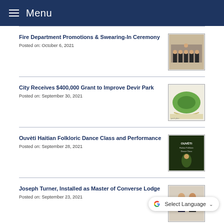Menu
Fire Department Promotions & Swearing-In Ceremony
Posted on: October 6, 2021
[Figure (photo): Group photo of fire department personnel in uniform]
City Receives $400,000 Grant to Improve Devir Park
Posted on: September 30, 2021
[Figure (photo): Aerial map/plan of Devir Park]
Ouvèti Haitian Folkloric Dance Class and Performance
Posted on: September 28, 2021
[Figure (photo): Event poster for Haitian Folkloric Dance]
Joseph Turner, Installed as Master of Converse Lodge
Posted on: September 23, 2021
[Figure (photo): Photo of Joseph Turner at ceremony]
Boston's Wounded Vet Run 10th